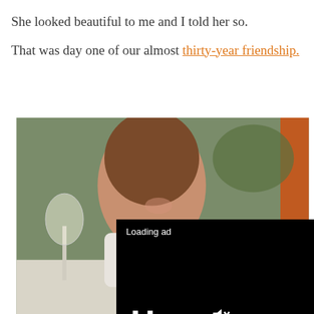She looked beautiful to me and I told her so.
That was day one of our almost thirty-year friendship.
[Figure (photo): Woman smiling at a phone outdoors at a table with a wine glass, with an overlaid video ad player showing 'Loading ad' and playback controls (pause, fullscreen, mute).]